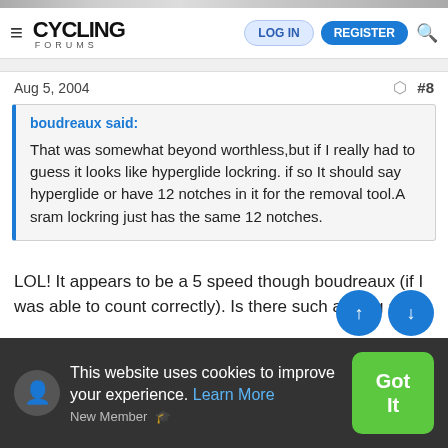CYCLING FORUMS — LOG IN | REGISTER
Aug 5, 2004   #8
boudreaux said:

That was somewhat beyond worthless,but if I really had to guess it looks like hyperglide lockring. if so It should say hyperglide or have 12 notches in it for the removal tool.A sram lockring just has the same 12 notches.
LOL! It appears to be a 5 speed though boudreaux (if I was able to count correctly). Is there such a thing as a 5...
This website uses cookies to improve your experience. Learn More
Got It
New Member